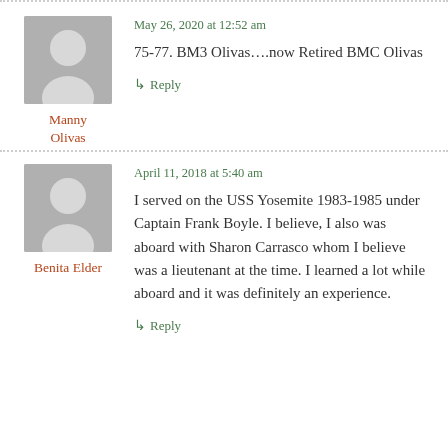May 26, 2020 at 12:52 am
75-77. BM3 Olivas….now Retired BMC Olivas
Manny Olivas
Reply
April 11, 2018 at 5:40 am
I served on the USS Yosemite 1983-1985 under Captain Frank Boyle. I believe, I also was aboard with Sharon Carrasco whom I believe was a lieutenant at the time. I learned a lot while aboard and it was definitely an experience.
Benita Elder
Reply